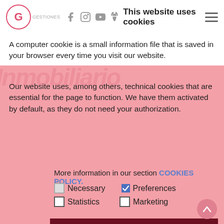This website uses cookies
A computer cookie is a small information file that is saved in your browser every time you visit our website.
Gabinete de Gestiones Grupo Inmobiliario
Our website uses, among others, technical cookies that are essential for the page to function. We have them activated by default, as they do not need your authorization.
More information in our section COOKIES POLICY.
Necessary  Preferences  Statistics  Marketing
Accept selection
967663908  Accept all cookies
651862571
info@gabinetedegestiones.es
Setting